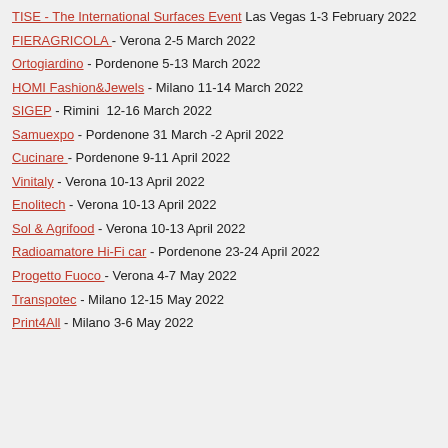TISE - The International Surfaces Event Las Vegas 1-3 February 2022
FIERAGRICOLA  - Verona 2-5 March 2022
Ortogiardino - Pordenone 5-13 March 2022
HOMI Fashion&Jewels - Milano 11-14 March 2022
SIGEP - Rimini  12-16 March 2022
Samuexpo - Pordenone 31 March -2 April 2022
Cucinare  - Pordenone 9-11 April 2022
Vinitaly - Verona 10-13 April 2022
Enolitech - Verona 10-13 April 2022
Sol & Agrifood - Verona 10-13 April 2022
Radioamatore Hi-Fi car - Pordenone 23-24 April 2022
Progetto Fuoco  - Verona 4-7 May 2022
Transpotec - Milano 12-15 May 2022
Print4All - Milano 3-6 May 2022